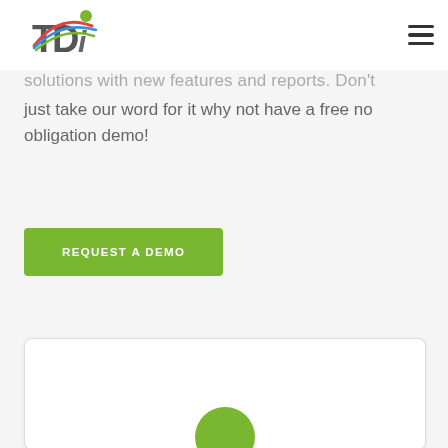TDi logo and navigation menu
solutions with new features and reports.  Don't just take our word for it why not have a free no obligation demo!
REQUEST A DEMO
[Figure (screenshot): White card with rounded corners and a green circle partially visible at the bottom center]